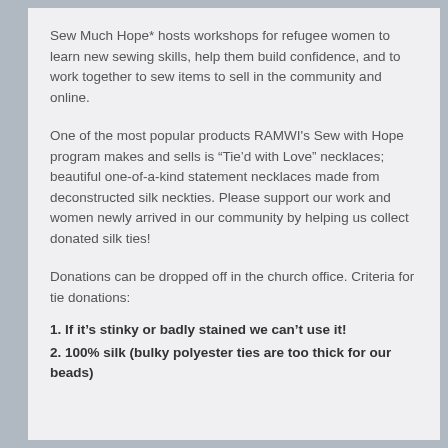Sew Much Hope* hosts workshops for refugee women to learn new sewing skills, help them build confidence, and to work together to sew items to sell in the community and online.
One of the most popular products RAMWI's Sew with Hope program makes and sells is “Tie’d with Love” necklaces; beautiful one-of-a-kind statement necklaces made from deconstructed silk neckties. Please support our work and women newly arrived in our community by helping us collect donated silk ties!
Donations can be dropped off in the church office. Criteria for tie donations:
1. If it’s stinky or badly stained we can’t use it!
2. 100% silk (bulky polyester ties are too thick for our beads)